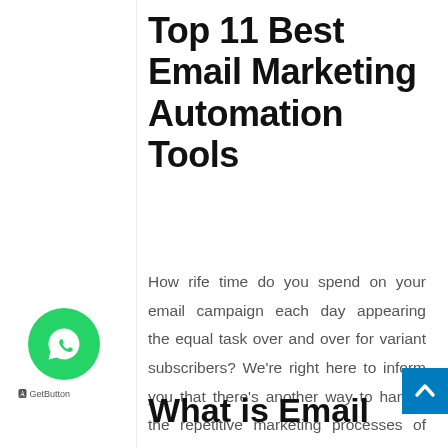Top 11 Best Email Marketing Automation Tools
How rife time do you spend on your email campaign each day appearing the equal task over and over for variant subscribers? We're right here to inform you that there's another way to handle the repetitive marketing processes of email automation. And all you require is the proper equipment,
What is Email